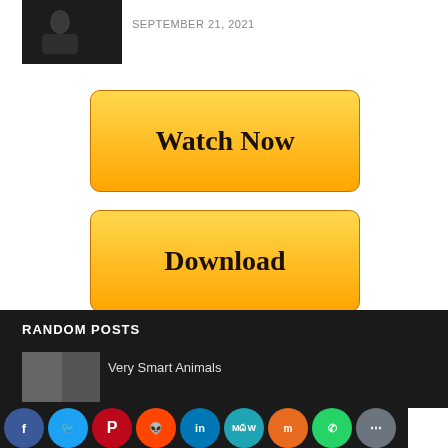[Figure (photo): Small dark thumbnail image of a person]
SEPTEMBER 21, 2021
[Figure (other): Watch Now button - gold/yellow gradient rounded rectangle]
[Figure (other): Download button - gold/yellow gradient rounded rectangle]
RANDOM POSTS
[Figure (photo): Small thumbnail for random post]
Very Smart Animals
[Figure (other): Social share bar with Facebook, Twitter, Pinterest, Reddit, LinkedIn, MeWe, Mix, WhatsApp, and more buttons]